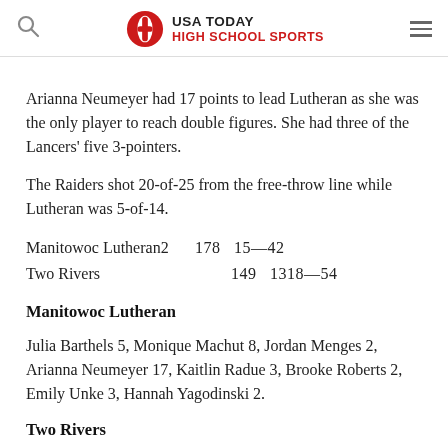USA TODAY HIGH SCHOOL SPORTS
Arianna Neumeyer had 17 points to lead Lutheran as she was the only player to reach double figures. She had three of the Lancers' five 3-pointers.
The Raiders shot 20-of-25 from the free-throw line while Lutheran was 5-of-14.
Manitowoc Lutheran2  178  15—42
Two Rivers             149  1318—54
Manitowoc Lutheran
Julia Barthels 5, Monique Machut 8, Jordan Menges 2, Arianna Neumeyer 17, Kaitlin Radue 3, Brooke Roberts 2, Emily Unke 3, Hannah Yagodinski 2.
Two Rivers